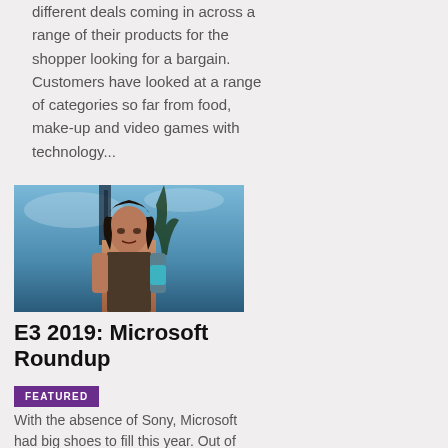different deals coming in across a range of their products for the shopper looking for a bargain. Customers have looked at a range of categories so far from food, make-up and video games with technology...
[Figure (photo): A dark-haired man in a sleeveless shirt with a cyberpunk aesthetic, sky and structure in background. Appears to be a screenshot from Cyberpunk 2077 featuring Keanu Reeves.]
E3 2019: Microsoft Roundup
FEATURED
With the absence of Sony, Microsoft had big shoes to fill this year. Out of the